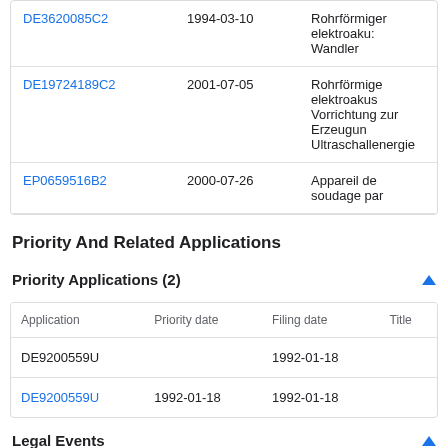| Application | Date | Title |
| --- | --- | --- |
| DE3620085C2 | 1994-03-10 | Rohrförmiger elektroaku: Wandler |
| DE19724189C2 | 2001-07-05 | Rohrförmige elektroakus Vorrichtung zur Erzeugun Ultraschallenergie |
| EP0659516B2 | 2000-07-26 | Appareil de soudage par |
Priority And Related Applications
Priority Applications (2)
| Application | Priority date | Filing date | Title |
| --- | --- | --- | --- |
| DE9200559U |  | 1992-01-18 |  |
| DE9200559U | 1992-01-18 | 1992-01-18 |  |
Legal Events
| Date | Code | Title |
| --- | --- | --- |